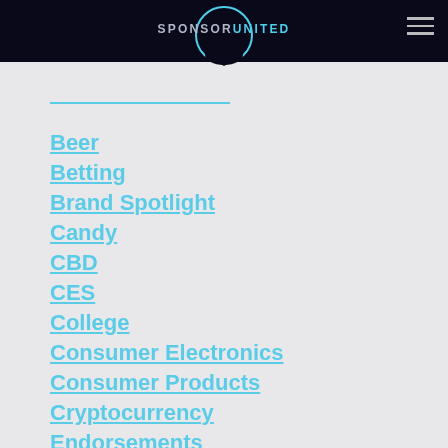SPONSOR UNITED
Beer
Betting
Brand Spotlight
Candy
CBD
CES
College
Consumer Electronics
Consumer Products
Cryptocurrency
Endorsements
Endurance
Entertainment